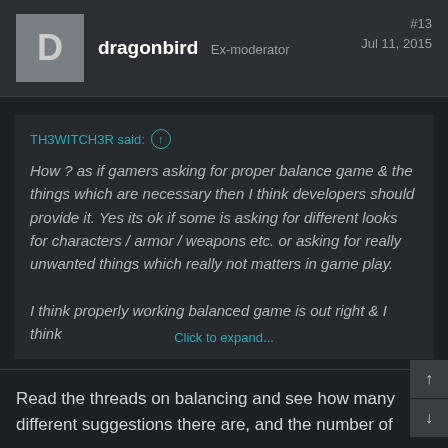dragonbird  Ex-moderator  #13  Jul 11, 2015
TH3WITCH3R said: ↑

How ? as if gamers asking for proper balance game & the things which are necessary then I think developers should provide it. Yes its ok if some is asking for different looks for characters / armor / weapons etc. or asking for really unwanted things which really not matters in game play.

I think properly working balanced game is out right & I think

Click to expand...
Read the threads on balancing and see how many different suggestions there are, and the number of